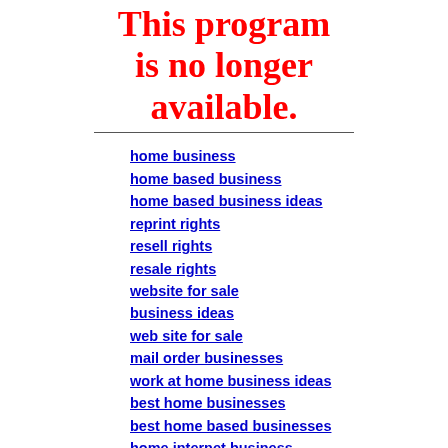This program is no longer available.
home business
home based business
home based business ideas
reprint rights
resell rights
resale rights
website for sale
business ideas
web site for sale
mail order businesses
work at home business ideas
best home businesses
best home based businesses
home internet business
internet home business
direct mail
home business ideas